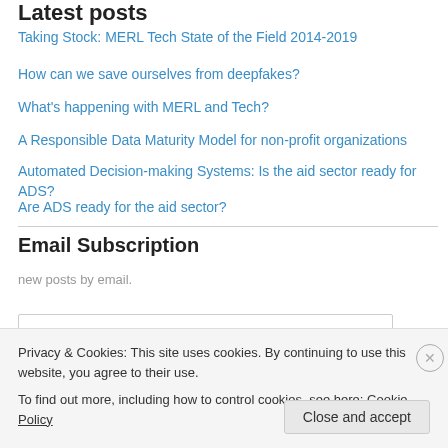Latest posts
Taking Stock: MERL Tech State of the Field 2014-2019
How can we save ourselves from deepfakes?
What's happening with MERL and Tech?
A Responsible Data Maturity Model for non-profit organizations
Automated Decision-making Systems: Is the aid sector ready for ADS?
Are ADS ready for the aid sector?
Email Subscription
new posts by email.
Email Address
Privacy & Cookies: This site uses cookies. By continuing to use this website, you agree to their use.
To find out more, including how to control cookies, see here: Cookie Policy
Close and accept